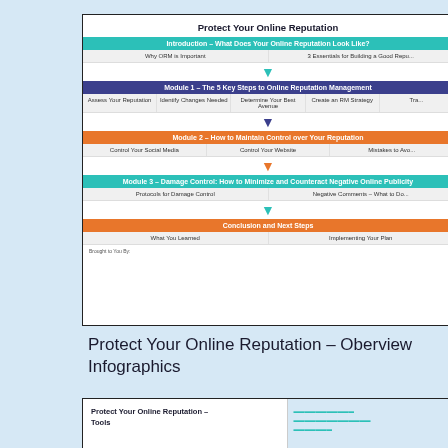[Figure (infographic): Infographic card titled 'Protect Your Online Reputation' showing a course overview with modules: Introduction, Module 1 (5 Key Steps to Online Reputation Management), Module 2 (How to Maintain Control over Your Reputation), Module 3 (Damage Control: How to Minimize and Counteract Negative Online Publicity), and Conclusion and Next Steps. Each module has sub-topics listed below in gray cells with teal/navy/orange arrows between sections.]
Protect Your Online Reputation – Oberview Infographics
[Figure (infographic): Partially visible bottom card titled 'Protect Your Online Reputation – Tools' with a blue section on the right showing blurred text.]